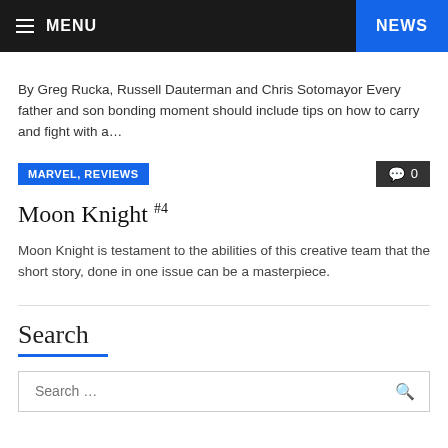MENU | NEWS
By Greg Rucka, Russell Dauterman and Chris Sotomayor Every father and son bonding moment should include tips on how to carry and fight with a...
MARVEL, REVIEWS | 0
Moon Knight #4
Moon Knight is testament to the abilities of this creative team that the short story, done in one issue can be a masterpiece.
Search